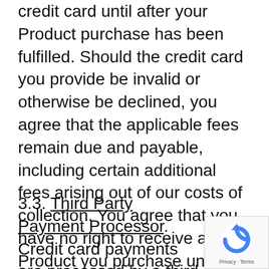credit card until after your Product purchase has been fulfilled. Should the credit card you provide be invalid or otherwise be declined, you agree that the applicable fees remain due and payable, including certain additional fees arising out of our costs of collection. You agree that you have no right to receive any Product you purchase until we have received the full payment for that Product.
3.3. Third Party Payment Processor. Credit card payments are processed by a third party vendor (the “Payment Vendor”)